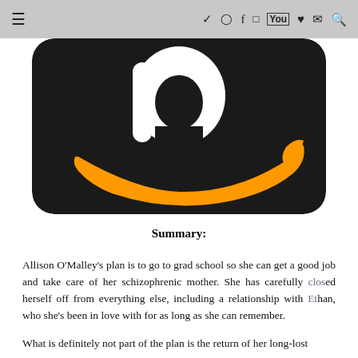≡   ♥ ✉ 🔍
[Figure (logo): Amazon app icon with white 'a' letter and orange smile arrow on black rounded-rectangle background]
Summary:
Allison O'Malley's plan is to go to grad school so she can get a good job and take care of her schizophrenic mother. She has carefully closed herself off from everything else, including a relationship with Ethan, who she's been in love with for as long as she can remember.
What is definitely not part of the plan is the return of her long-lost